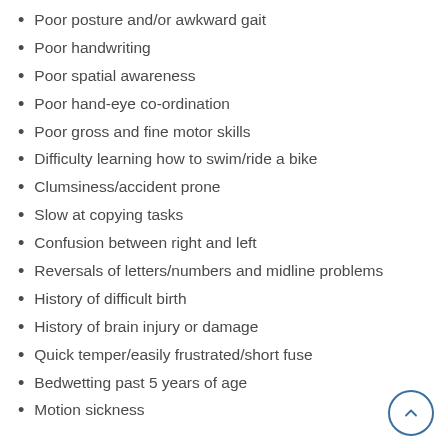Poor posture and/or awkward gait
Poor handwriting
Poor spatial awareness
Poor hand-eye co-ordination
Poor gross and fine motor skills
Difficulty learning how to swim/ride a bike
Clumsiness/accident prone
Slow at copying tasks
Confusion between right and left
Reversals of letters/numbers and midline problems
History of difficult birth
History of brain injury or damage
Quick temper/easily frustrated/short fuse
Bedwetting past 5 years of age
Motion sickness